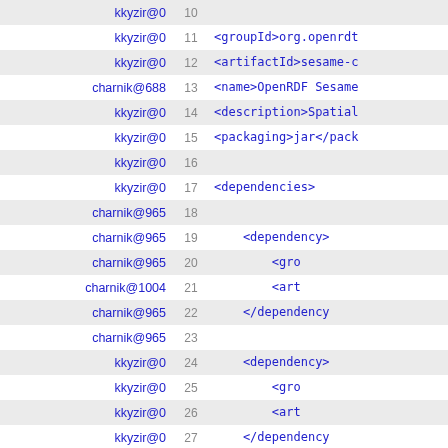| author | line | code |
| --- | --- | --- |
| kkyzir@0 | 10 |  |
| kkyzir@0 | 11 | <groupId>org.openrdt |
| kkyzir@0 | 12 | <artifactId>sesame-c |
| charnik@688 | 13 | <name>OpenRDF Sesame |
| kkyzir@0 | 14 | <description>Spatial |
| kkyzir@0 | 15 | <packaging>jar</pack |
| kkyzir@0 | 16 |  |
| kkyzir@0 | 17 | <dependencies> |
| charnik@965 | 18 |  |
| charnik@965 | 19 |     <dependency> |
| charnik@965 | 20 |         <gro |
| charnik@1004 | 21 |         <art |
| charnik@965 | 22 |     </dependency |
| charnik@965 | 23 |  |
| kkyzir@0 | 24 |     <dependency> |
| kkyzir@0 | 25 |         <gro |
| kkyzir@0 | 26 |         <art |
| kkyzir@0 | 27 |     </dependency |
| grad1110@123 | 28 |  |
| kkyzir@0 | 29 |     <dependency> |
| kkyzir@0 | 30 |         <gro |
| kkyzir@0 | 31 |         <art |
| kkyzir@0 | 32 |     </dependency |
| grad1110@123 | 33 |  |
| kkyzir@0 | 34 |     <dependency> |
| kkyzir@0 | 35 |         <gro |
| kkyzir@0 | 36 |         <art |
| kkyzir@0 | 37 |     </dependency |
| grad1110@123 | 38 |  |